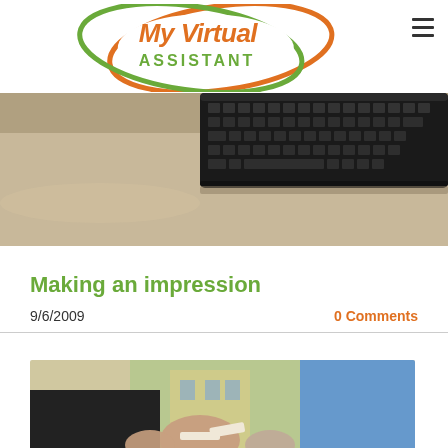My Virtual Assistant logo and navigation
[Figure (photo): Close-up photo of a black keyboard on a desk surface, viewed from an angle]
Making an impression
9/6/2009
0 Comments
[Figure (photo): Two people exchanging business cards or documents outdoors, one wearing a black top, the other wearing a blue shirt]